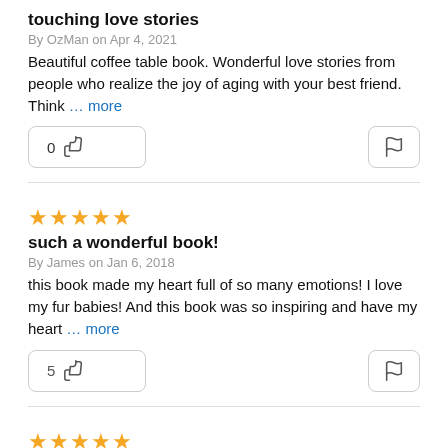touching love stories
By OzMan on Apr 4, 2021
Beautiful coffee table book. Wonderful love stories from people who realize the joy of aging with your best friend. Think … more
0 [helpful] [flag]
[Figure (other): 5 orange stars rating]
such a wonderful book!
By James on Jan 6, 2018
this book made my heart full of so many emotions! I love my fur babies! And this book was so inspiring and have my heart … more
5 [helpful] [flag]
[Figure (other): 5 orange stars rating]
Beautiful book!